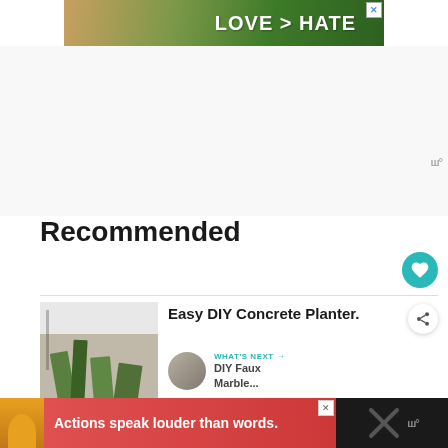[Figure (illustration): Advertisement banner: green background with hands making heart shape, text LOVE > HATE in white bold letters, with close X button]
Recommended
[Figure (photo): Article thumbnail showing DIY concrete planters with plants on a wooden table against a white wall]
Easy DIY Concrete Planter.
WHAT'S NEXT → DIY Faux Marble...
Read More →
[Figure (illustration): Bottom advertisement banner on dark background: person in yellow shirt, pink/red gradient with text Actions speak louder than words.]